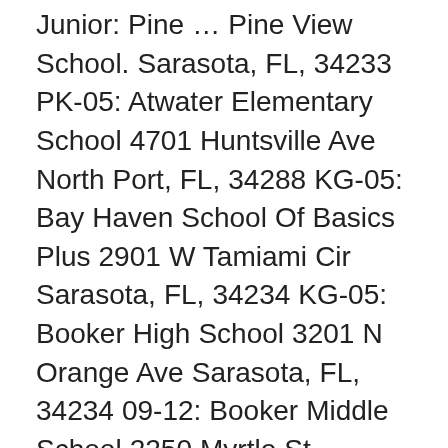Junior: Pine … Pine View School. Sarasota, FL, 34233 PK-05: Atwater Elementary School 4701 Huntsville Ave North Port, FL, 34288 KG-05: Bay Haven School Of Basics Plus 2901 W Tamiami Cir Sarasota, FL, 34234 KG-05: Booker High School 3201 N Orange Ave Sarasota, FL, 34234 09-12: Booker Middle School 2250 Myrtle St Sarasota, FL, 34234 06-08: Brentwood Elementary School 2500 Vinson Ave Are you a healthcare professional? Browse best elementary, middle, and high schools private and public schools by grade level in Bradenton, Florida (FL). Alta Vista Elementary School. Many programs will tell you the requirements you need to succeed in their courses, but make sure to consider if other people in your household will use the internet at the same time. The public schools in Sarasota are in Sarasota. There are